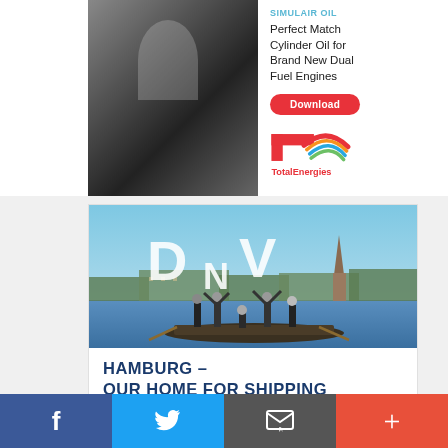[Figure (photo): Close-up photo of industrial machinery, appears to be engine or mechanical parts in dark tones]
Perfect Match Cylinder Oil for Brand New Dual Fuel Engines
[Figure (logo): Download button - red rounded rectangle with white text 'Download']
[Figure (logo): TotalEnergies logo - red T shape with colorful arc, text 'TotalEnergies' below]
[Figure (photo): DNV promotional photo: people on a boat on water holding up large letters D, N, V. City waterfront visible in background. Blue sky.]
HAMBURG – OUR HOME FOR SHIPPING
[Figure (infographic): Social media share bar at bottom: Facebook (blue), Twitter (blue), Email/envelope (gray), Plus/more (red-orange)]